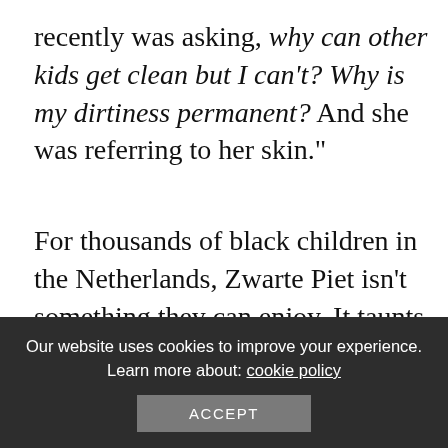recently was asking, why can other kids get clean but I can't? Why is my dirtiness permanent? And she was referring to her skin."
For thousands of black children in the Netherlands, Zwarte Piet isn't something they can enjoy. It taunts them constantly. And instills a mentality of self-hatred. But there may be an end in sight.
Over the past few years, the black population in the Netherlands has...
Our website uses cookies to improve your experience. Learn more about: cookie policy
ACCEPT